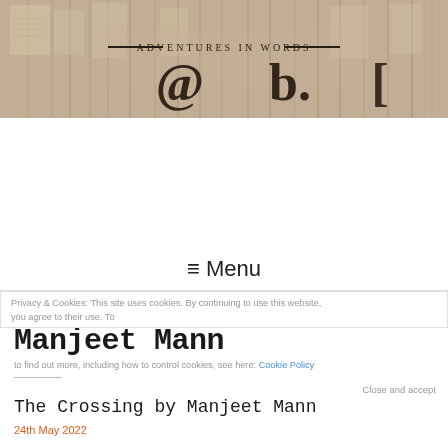[Figure (photo): Header banner image showing stacked and open books with the text 'Adventures in Words' and a stylized '@' or logo symbol below it]
≡ Menu
Privacy & Cookies: This site uses cookies. By continuing to use this website, you agree to their use. To find out more, including how to control cookies, see here: Cookie Policy
Manjeet Mann
Close and accept
The Crossing by Manjeet Mann
24th May 2022